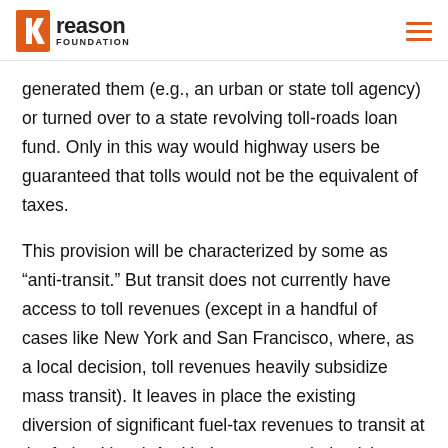Reason Foundation
generated them (e.g., an urban or state toll agency) or turned over to a state revolving toll-roads loan fund. Only in this way would highway users be guaranteed that tolls would not be the equivalent of taxes.
This provision will be characterized by some as “anti-transit.” But transit does not currently have access to toll revenues (except in a handful of cases like New York and San Francisco, where, as a local decision, toll revenues heavily subsidize mass transit). It leaves in place the existing diversion of significant fuel-tax revenues to transit at the federal level. And it does not preclude giving transit